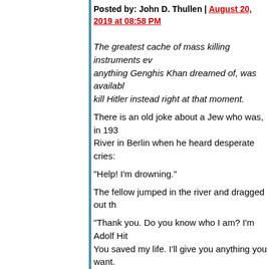Posted by: John D. Thullen | August 20, 2019 at 08:58 PM
The greatest cache of mass killing instruments ev... anything Genghis Khan dreamed of, was availabl... kill Hitler instead right at that moment.
There is an old joke about a Jew who was, in 193... River in Berlin when he heard desperate cries:
"Help! I'm drowning."
The fellow jumped in the river and dragged out th...
"Thank you. Do you know who I am? I'm Adolf Hit... You saved my life. I'll give you anything you want.
After a pause, came the response:
"Just promise me you'll never breathe a word abo...
Posted by: byomtov | August 20, 2019 at 10:05 PM
Without Yiddish/Jewish humor, human tragedy wo...
It still isn't, but at least it's readable.